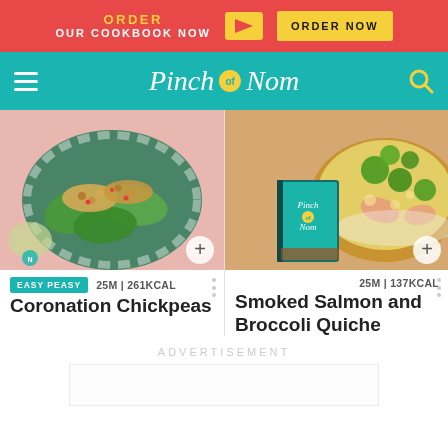ORDER OUR COOKBOOK NOW → ORDER NOW
Pinch of Nom
[Figure (photo): Coronation Chickpeas dish on a striped plate with lettuce leaves]
[Figure (photo): Smoked Salmon and Broccoli Quiche with Pinch of Nom cookbook]
EASY PEASY   25M | 261KCAL
Coronation Chickpeas
25M | 137KCAL
Smoked Salmon and Broccoli Quiche
ADVERTISEMENT